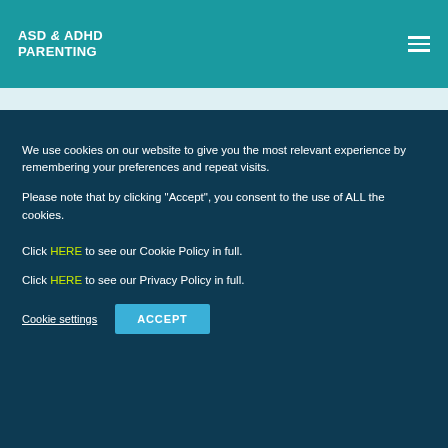ASD & ADHD PARENTING
We use cookies on our website to give you the most relevant experience by remembering your preferences and repeat visits.
Please note that by clicking "Accept", you consent to the use of ALL the cookies.
Click HERE to see our Cookie Policy in full.
Click HERE to see our Privacy Policy in full.
Cookie settings   ACCEPT